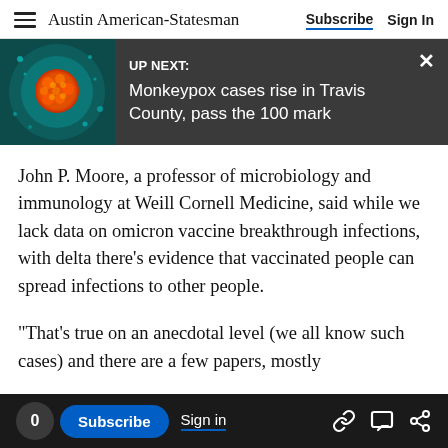Austin American-Statesman   Subscribe   Sign In
[Figure (screenshot): Up Next banner with monkeypox virus microscope image on left and dark background. Text: UP NEXT: Monkeypox cases rise in Travis County, pass the 100 mark]
John P. Moore, a professor of microbiology and immunology at Weill Cornell Medicine, said while we lack data on omicron vaccine breakthrough infections, with delta there's evidence that vaccinated people can spread infections to other people.
"That's true on an anecdotal level (we all know such cases) and there are a few papers, mostly
However, infection spread is less likely when the